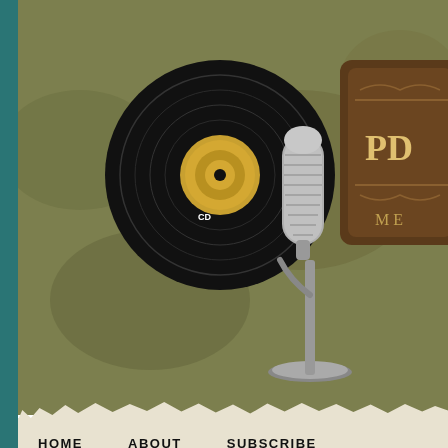[Figure (illustration): Vintage website header with olive-green textured background, vinyl record and retro microphone illustration on left, partial brown badge/logo on right reading 'PD' and 'ME']
HOME   ABOUT   SUBSCRIBE
Archive for the 'Social issues' Catego...
IT WAS ON THIS DAY IN HISTOR...
[Figure (photo): Black and white vintage photograph showing historical figures, with large white 'TODAY' text overlaid]
14 AUG